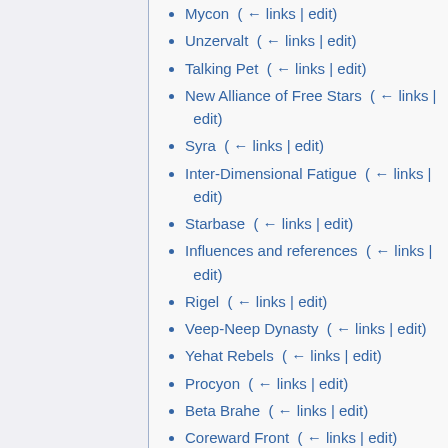Mycon  ( ← links | edit)
Unzervalt  ( ← links | edit)
Talking Pet  ( ← links | edit)
New Alliance of Free Stars  ( ← links | edit)
Syra  ( ← links | edit)
Inter-Dimensional Fatigue  ( ← links | edit)
Starbase  ( ← links | edit)
Influences and references  ( ← links | edit)
Rigel  ( ← links | edit)
Veep-Neep Dynasty  ( ← links | edit)
Yehat Rebels  ( ← links | edit)
Procyon  ( ← links | edit)
Beta Brahe  ( ← links | edit)
Coreward Front  ( ← links | edit)
Mira  ( ← links | edit)
Indi  ( ← links | edit)
Doynot  ( ← links | edit)